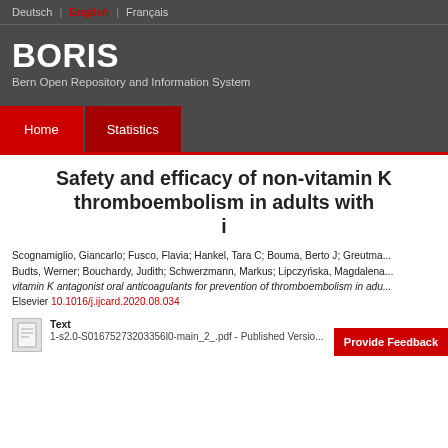Deutsch | English | Français
BORIS
Bern Open Repository and Information System
Home   Statistics
Safety and efficacy of non-vitamin K antagonist thromboembolism in adults with i
Scognamiglio, Giancarlo; Fusco, Flavia; Hankel, Tara C; Bouma, Berto J; Greutma... Budts, Werner; Bouchardy, Judith; Schwerzmann, Markus; Lipczyńska, Magdalena... vitamin K antagonist oral anticoagulants for prevention of thromboembolism in adu... Elsevier 10.1016/j.ijcard.2020.08.034
Text
1-s2.0-S01675273203356l0-main_2_.pdf - Published Versio...